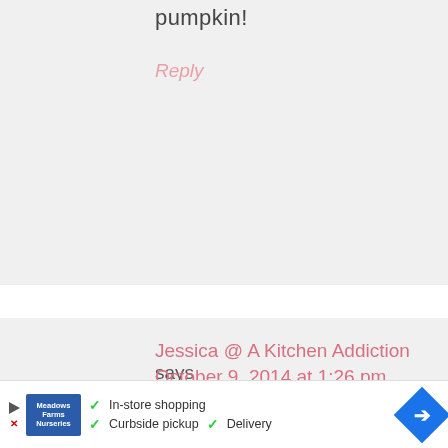pumpkin!
Reply
Jessica @ A Kitchen Addiction says
October 9, 2014 at 1:26 pm
That brown butter maple icing sounds incredible! I thought I already had a favorite pumpkin bread, but this one sounds like it could be a new favorite!
[Figure (other): Advertisement banner with store logo, checkmarks for In-store shopping, Curbside pickup, Delivery, and a blue directional arrow icon]